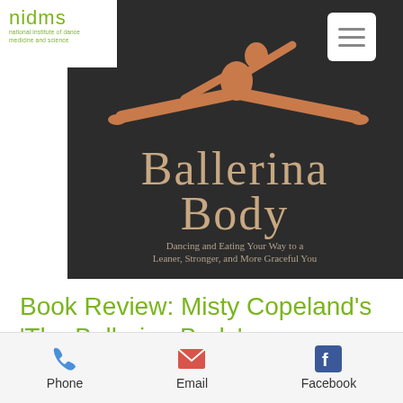[Figure (logo): nidms - national institute of dance medicine and science logo, green text]
[Figure (photo): Book cover of 'Ballerina Body' by Misty Copeland, showing a dancer doing splits against dark background. Subtitle: Dancing and Eating Your Way to a Leaner, Stronger, and More Graceful You]
Book Review: Misty Copeland's 'The Ballerina Body'.
Recent professional dance training graduate...
[Figure (infographic): Bottom navigation bar with Phone, Email, and Facebook icons and labels]